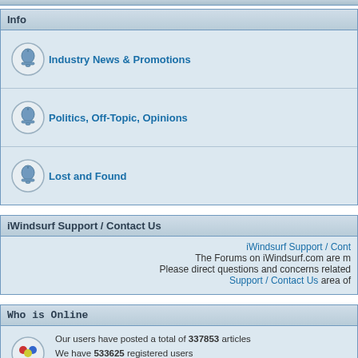Info
Industry News & Promotions
Politics, Off-Topic, Opinions
Lost and Found
iWindsurf Support / Contact Us
iWindsurf Support / Cont... The Forums on iWindsurf.com are m... Please direct questions and concerns related... Support / Contact Us area of...
Who is Online
Our users have posted a total of 337853 articles
We have 533625 registered users
The newest registered user is ccopple@gmail.com
In total there are 3 users online :: 3 Registered, 0 Hidden and 0 Guests   [ Administrator ]
Most users ever online was 1358 on Sun Apr 01, 2007 1:44 pm
Registered Users: estherjibe, hinklemoyer, walz
This data is based on users active over the past five minutes